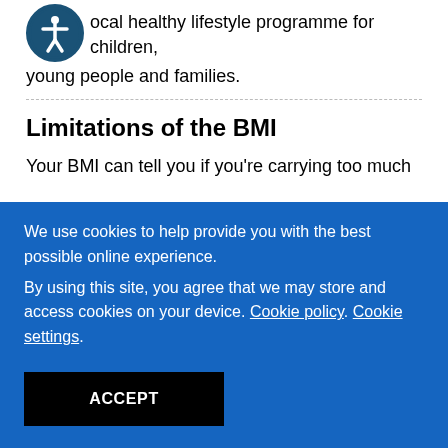contact your GP who may be able to refer you to a local healthy lifestyle programme for children, young people and families.
Limitations of the BMI
Your BMI can tell you if you're carrying too much
We use cookies to help provide you with the best possible online experience.
By using this site, you agree that we may store and access cookies on your device. Cookie policy. Cookie settings.
ACCEPT